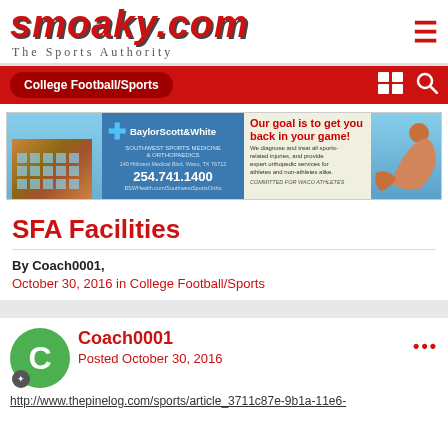smoaky.com — The Sports Authority
College Football/Sports
[Figure (photo): BaylorScott&White Southwest Sports Medicine & Orthopaedics advertisement banner with building photo, athlete photo, phone number 254.741.1400, and tagline 'Our goal is to get you back in your game!']
SFA Facilities
By Coach0001, October 30, 2016 in College Football/Sports
Coach0001
Posted October 30, 2016
http://www.thepinelog.com/sports/article_3711c87e-9b1a-11e6-